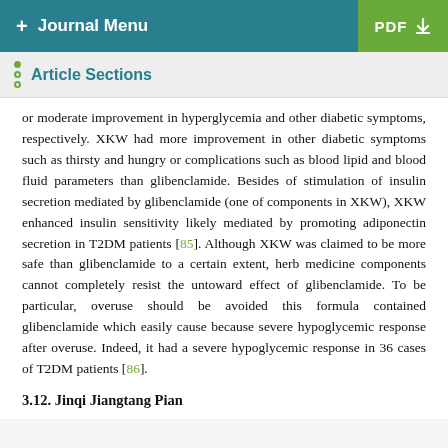+ Journal Menu | PDF
Article Sections
or moderate improvement in hyperglycemia and other diabetic symptoms, respectively. XKW had more improvement in other diabetic symptoms such as thirsty and hungry or complications such as blood lipid and blood fluid parameters than glibenclamide. Besides of stimulation of insulin secretion mediated by glibenclamide (one of components in XKW), XKW enhanced insulin sensitivity likely mediated by promoting adiponectin secretion in T2DM patients [85]. Although XKW was claimed to be more safe than glibenclamide to a certain extent, herb medicine components cannot completely resist the untoward effect of glibenclamide. To be particular, overuse should be avoided this formula contained glibenclamide which easily cause because severe hypoglycemic response after overuse. Indeed, it had a severe hypoglycemic response in 36 cases of T2DM patients [86].
3.12. Jinqi Jiangtang Pian